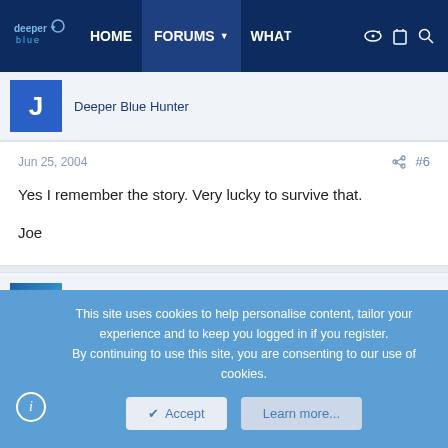deeper blue | HOME | FORUMS | WHAT
Deeper Blue Hunter
Jun 25, 2004  #6
Yes I remember the story. Very lucky to survive that.

Joe
portinfer
Aquatic shopper...
This site uses cookies to help personalise content, tailor your experience and to keep you logged in if you register.
By continuing to use this site, you are consenting to our use of cookies.
Accept   Learn more...